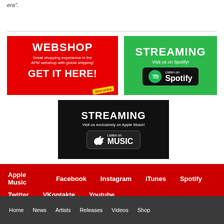era”.
[Figure (infographic): Red webshop banner: WEBSHOP, Great shopping experience in the AFM webshop with global shipping!, GET IT HERE!, best price]
[Figure (infographic): Green Spotify streaming banner: STREAMING, Visit us on Spotify!, Listen on Spotify button]
[Figure (infographic): Black Apple Music streaming banner: STREAMING, Visit us exclusively on Apple Music!, Listen on MUSIC button]
Apple Music  Facebook  Instagram  iTunes  Spotify
Twitter  VKontakte  Youtube
Home  News  Artists  Releases  Videos  Shop